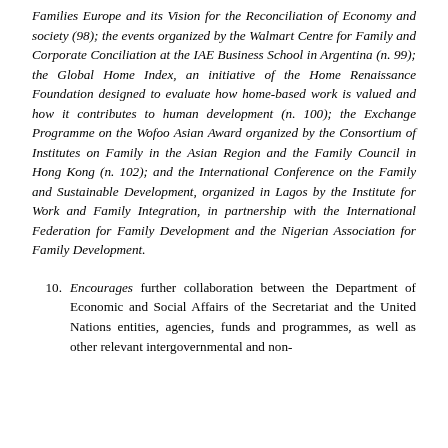Families Europe and its Vision for the Reconciliation of Economy and society (98); the events organized by the Walmart Centre for Family and Corporate Conciliation at the IAE Business School in Argentina (n. 99); the Global Home Index, an initiative of the Home Renaissance Foundation designed to evaluate how home-based work is valued and how it contributes to human development (n. 100); the Exchange Programme on the Wofoo Asian Award organized by the Consortium of Institutes on Family in the Asian Region and the Family Council in Hong Kong (n. 102); and the International Conference on the Family and Sustainable Development, organized in Lagos by the Institute for Work and Family Integration, in partnership with the International Federation for Family Development and the Nigerian Association for Family Development.
10. Encourages further collaboration between the Department of Economic and Social Affairs of the Secretariat and the United Nations entities, agencies, funds and programmes, as well as other relevant intergovernmental and non-governmental organizations in the field of family